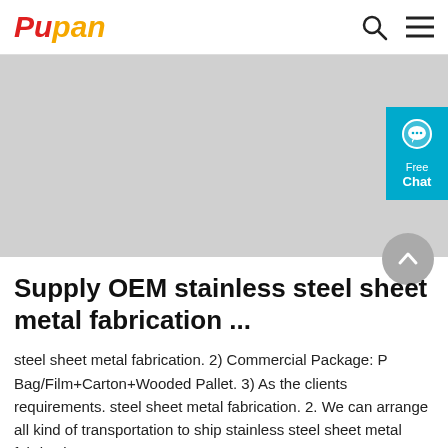Pupan
[Figure (photo): Grey image placeholder area for stainless steel sheet metal fabrication product photo]
Supply OEM stainless steel sheet metal fabrication ...
steel sheet metal fabrication. 2) Commercial Package: P Bag/Film+Carton+Wooded Pallet. 3) As the clients requirements. steel sheet metal fabrication. 2. We can arrange all kind of transportation to ship stainless steel sheet metal fabrication